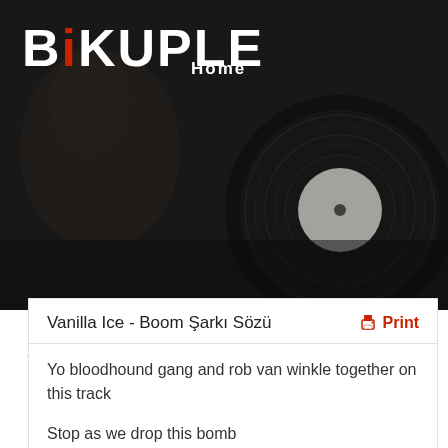BIKUPLE — Home
[Figure (photo): Dark background photo of a vinyl record and person, used as hero banner]
Vanilla Ice
Boom
Vanilla Ice - Boom Şarkı Sözü
Print
Yo bloodhound gang and rob van winkle together on this track
Stop as we drop this bomb